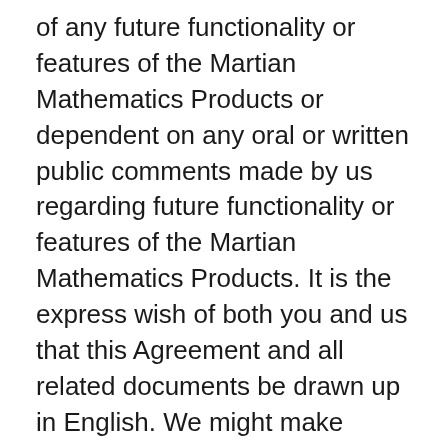of any future functionality or features of the Martian Mathematics Products or dependent on any oral or written public comments made by us regarding future functionality or features of the Martian Mathematics Products. It is the express wish of both you and us that this Agreement and all related documents be drawn up in English. We might make versions of this Agreement available in languages other than English. If we do, the English version of this Agreement will govern our relationship and the translated version is provided for convenience only and will not be interpreted to modify the English version of this Agreement. Assignment. You will not assign or transfer this Agreement, including any assignment or